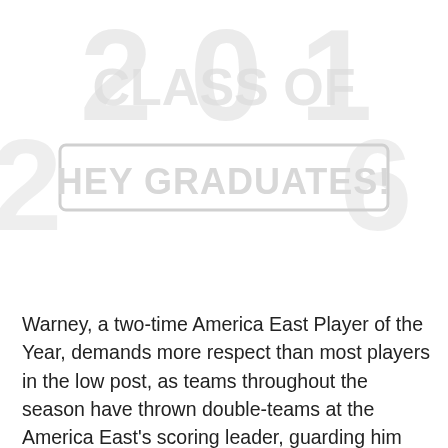[Figure (other): Faded watermark/banner image with large text reading 'HEY GRADUATES!' and decorative large numeral figures, appearing very light/washed out in white and light gray tones]
Warney, a two-time America East Player of the Year, demands more respect than most players in the low post, as teams throughout the season have thrown double-teams at the America East's scoring leader, guarding him with multiple defenders. Warney excels in making plays out of double coverage, often passing the ball to a teammate across the court to reverse the